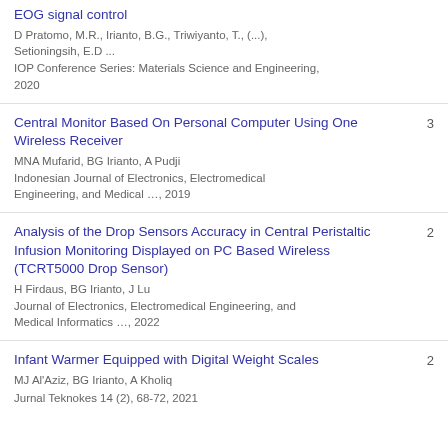... A Prosthetic Hand with 2-Dimensional motion based EOG signal control
D Pratomo, M.R., Irianto, B.G., Triwiyanto, T., (...), Setioningsih, E.D ...
IOP Conference Series: Materials Science and Engineering, 2020
Central Monitor Based On Personal Computer Using One Wireless Receiver
MNA Mufarid, BG Irianto, A Pudji
Indonesian Journal of Electronics, Electromedical Engineering, and Medical …, 2019
Citations: 3
Analysis of the Drop Sensors Accuracy in Central Peristaltic Infusion Monitoring Displayed on PC Based Wireless (TCRT5000 Drop Sensor)
H Firdaus, BG Irianto, J Lu
Journal of Electronics, Electromedical Engineering, and Medical Informatics …, 2022
Citations: 2
Infant Warmer Equipped with Digital Weight Scales
MJ Al'Aziz, BG Irianto, A Kholiq
Jurnal Teknokes 14 (2), 68-72, 2021
Citations: 2